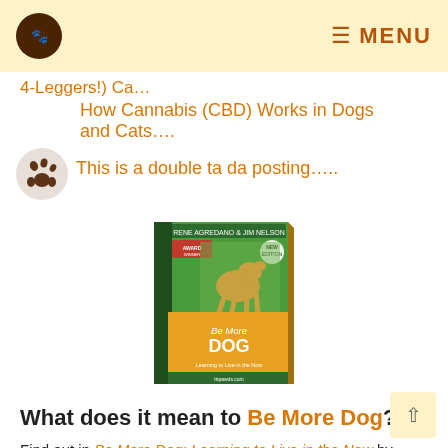MENU
4-Leggers!) Ca...
How Cannabis (CBD) Works in Dogs and Cats....
This is a double ta da posting.....
[Figure (photo): Book cover of 'Be More Dog' by Rene Agredano and Jim Nelson, showing a German Shepherd jumping on a green/orange cover]
What does it mean to Be More Dog?
Find out in Be More Dog: Learning to Live in the Now by Tripawds founders Rene and Jim. Learn life